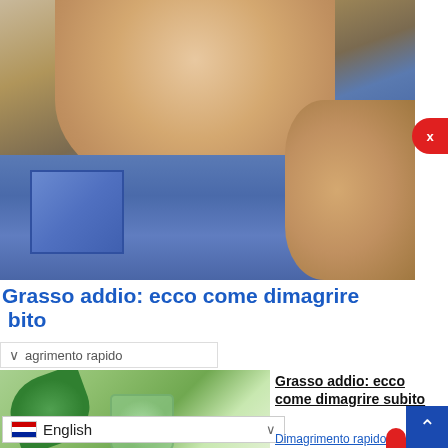[Figure (photo): Person wearing oversized jeans, pulling out the waistband to show weight loss]
Grasso addio: ecco come dimagrire subito
Dimagrimento rapido
[Figure (photo): Green smoothie being poured into a glass jar with leaves]
Grasso addio: ecco come dimagrire subito
Dimagrimento rapido
English